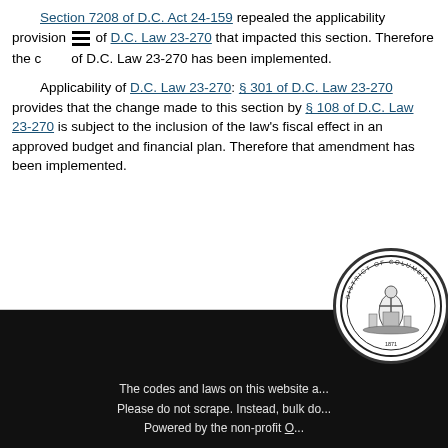Section 7208 of D.C. Act 24-159 repealed the applicability provision of D.C. Law 23-270 that impacted this section. Therefore the changes made to this section by D.C. Law 23-270 has been implemented.
Applicability of D.C. Law 23-270: § 301 of D.C. Law 23-270 provided that the change made to this section by § 108 of D.C. Law 23-270 is subject to the inclusion of the law's fiscal effect in an approved budget and financial plan. Therefore that amendment has not been implemented.
[Figure (logo): Seal of the District of Columbia — circular seal with figure and text around border]
The codes and laws on this website a... Please do not scrape. Instead, bulk do... Powered by the non-profit O...